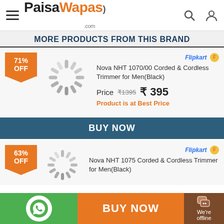[Figure (logo): PaisaWapas.com logo with hamburger menu, search and user icons]
MORE PRODUCTS FROM THIS BRAND
71% OFF
[Figure (photo): Loading spinner placeholder image]
Nova NHT 1070/00 Corded & Cordless Trimmer for Men(Black)
Price ₹1395 ₹ 395
Product is at Best Price
BUY NOW
63% OFF
[Figure (photo): Loading spinner placeholder image for second product]
Nova NHT 1075 Corded & Cordless Trimmer for Men(Black)
BUY NOW